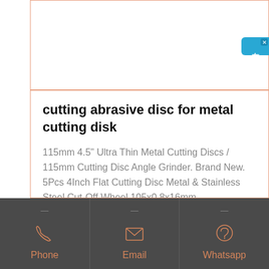[Figure (screenshot): White content box with orange border (top section, empty)]
[Figure (other): Blue chat badge with Chinese text '在线咨询' (Online Consultation) on the right side]
cutting abrasive disc for metal cutting disk
115mm 4.5" Ultra Thin Metal Cutting Discs / 115mm Cutting Disc Angle Grinder. Brand New. 5Pcs 4Inch Flat Cutting Disc Metal & Stainless Steel Cut-Off Wheel 105x0.8x16mm.
[Figure (infographic): Dark grey footer bar with three contact options: Phone, Email, Whatsapp, each with icon and orange label text]